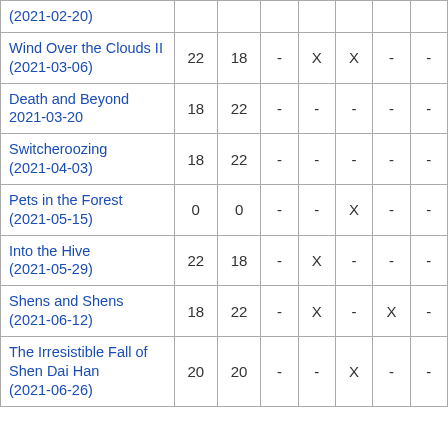| Title (Date) | Col1 | Col2 | Col3 | Col4 | Col5 | Col6 | Col7 |
| --- | --- | --- | --- | --- | --- | --- | --- |
| (2021-02-20) |  |  |  |  |  |  |  |
| Wind Over the Clouds II (2021-03-06) | 22 | 18 | - | X | X | - | - |
| Death and Beyond 2021-03-20 | 18 | 22 | - | - | - | - | - |
| Switcheroozing (2021-04-03) | 18 | 22 | - | - | - | - | - |
| Pets in the Forest (2021-05-15) | 0 | 0 | - | - | X | - | - |
| Into the Hive (2021-05-29) | 22 | 18 | - | X | - | - | - |
| Shens and Shens (2021-06-12) | 18 | 22 | - | X | - | X | - |
| The Irresistible Fall of Shen Dai Han (2021-06-26) | 20 | 20 | - | - | X | - | - |